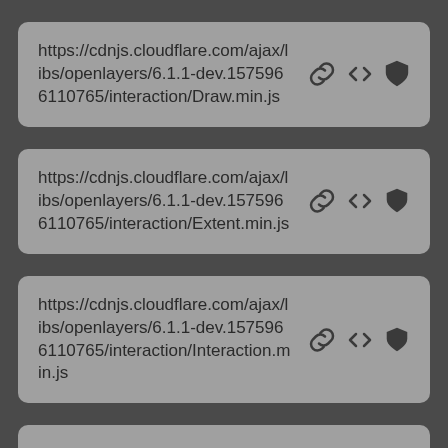https://cdnjs.cloudflare.com/ajax/libs/openlayers/6.1.1-dev.1575966110765/interaction/Draw.min.js
https://cdnjs.cloudflare.com/ajax/libs/openlayers/6.1.1-dev.1575966110765/interaction/Extent.min.js
https://cdnjs.cloudflare.com/ajax/libs/openlayers/6.1.1-dev.1575966110765/interaction/Interaction.min.js
https://cdnjs.cloudflare.com/ajax/...